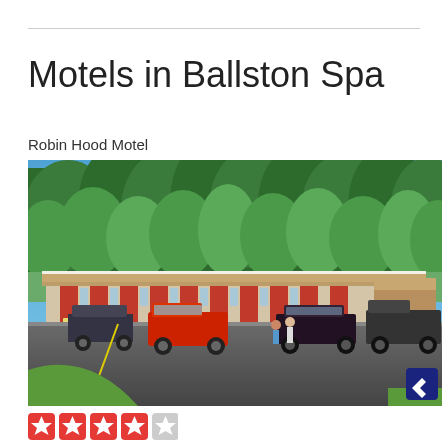Motels in Ballston Spa
Robin Hood Motel
[Figure (photo): Exterior photo of Robin Hood Motel in Ballston Spa showing a single-story motel building with red doors, surrounded by large trees, with a parking lot in the foreground containing several cars and trucks. Blue sky visible above trees.]
[Figure (other): Star rating display showing 4 red stars and 1 gray star]